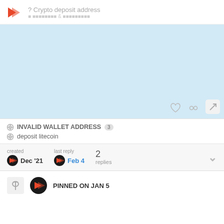Crypto deposit address
[Figure (screenshot): Light blue content area (post body, blurred/empty) with expand icon in bottom-right corner]
INVALID WALLET ADDRESS 3
deposit litecoin
created Dec '21  last reply Feb 4  2 replies
PINNED ON JAN 5